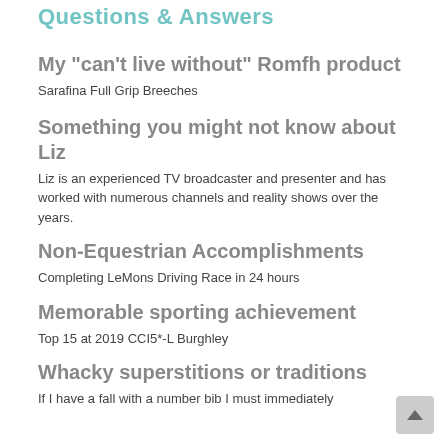Questions & Answers
My "can't live without" Romfh product
Sarafina Full Grip Breeches
Something you might not know about Liz
Liz is an experienced TV broadcaster and presenter and has worked with numerous channels and reality shows over the years.
Non-Equestrian Accomplishments
Completing LeMons Driving Race in 24 hours
Memorable sporting achievement
Top 15 at 2019 CCI5*-L Burghley
Whacky superstitions or traditions
If I have a fall with a number bib I must immediately...